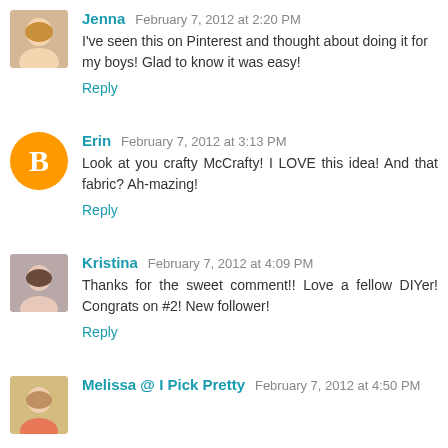Jenna  February 7, 2012 at 2:20 PM
I've seen this on Pinterest and thought about doing it for my boys! Glad to know it was easy!
Reply
Erin  February 7, 2012 at 3:13 PM
Look at you crafty McCrafty! I LOVE this idea! And that fabric? Ah-mazing!
Reply
Kristina  February 7, 2012 at 4:09 PM
Thanks for the sweet comment!! Love a fellow DIYer! Congrats on #2! New follower!
Reply
Melissa @ I Pick Pretty  February 7, 2012 at 4:50 PM